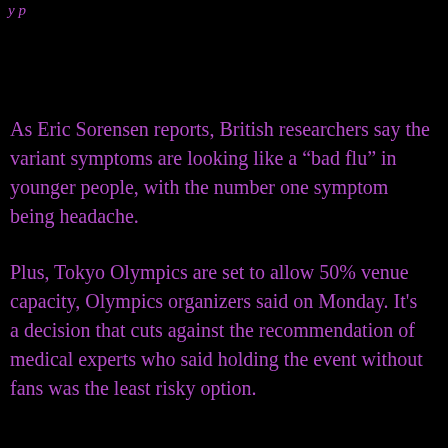y p
As Eric Sorensen reports, British researchers say the variant symptoms are looking like a “bad flu” in younger people, with the number one symptom being headache.
Plus, Tokyo Olympics are set to allow 50% venue capacity, Olympics organizers said on Monday. It's a decision that cuts against the recommendation of medical experts who said holding the event without fans was the least risky option.